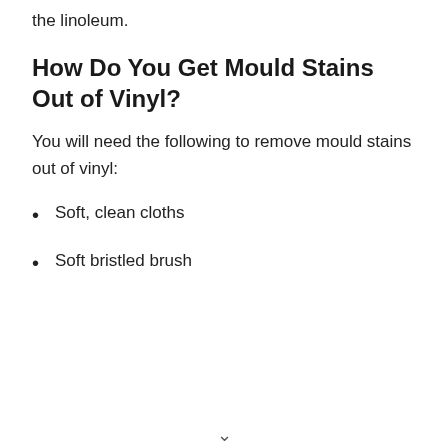the linoleum.
How Do You Get Mould Stains Out of Vinyl?
You will need the following to remove mould stains out of vinyl:
Soft, clean cloths
Soft bristled brush